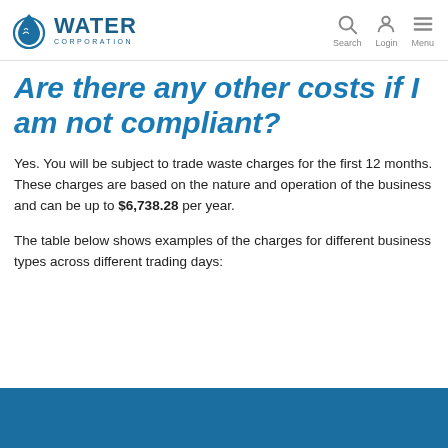Water Corporation — Search Login Menu
Are there any other costs if I am not compliant?
Yes. You will be subject to trade waste charges for the first 12 months. These charges are based on the nature and operation of the business and can be up to $6,738.28 per year.
The table below shows examples of the charges for different business types across different trading days: